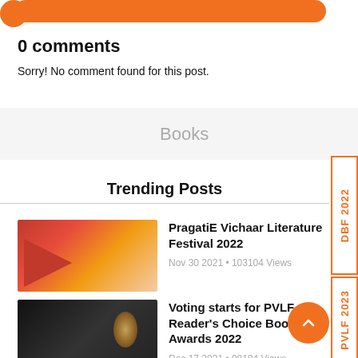0 comments
Sorry! No comment found for this post.
Books
Trending Posts
PragatiE Vichaar Literature Festival 2022
Nov 30 2021 • 103104 Views
Voting starts for PVLF Reader's Choice Book Awards 2022
Dec 17 2021 • 98194 Views